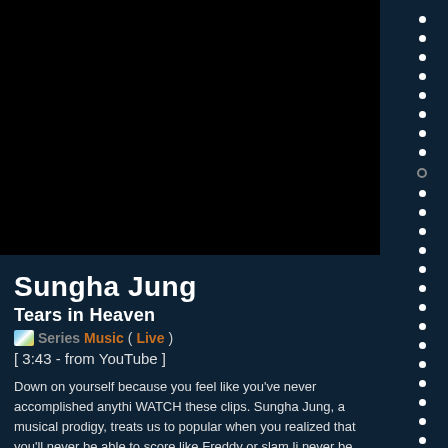[Figure (screenshot): Black video player area showing a dark/blank video frame]
Sungha Jung
Tears in Heaven
Series Music (Live)
[ 3:43 - from YouTube ]
Down on yourself because you feel like you've never accomplished anything? WATCH these clips. Sungha Jung, a musical prodigy, treats us to popular when you realized that you'll never be able to score like Freddy or slam li never be able to jam like Sungha either. Typical.